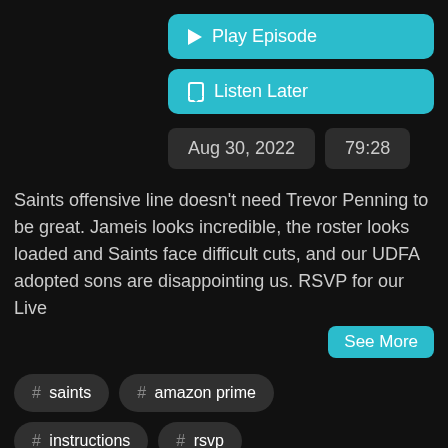[Figure (screenshot): Teal Play Episode button with triangle play icon]
[Figure (screenshot): Teal Listen Later button with bookmark icon]
Aug 30, 2022   79:28
Saints offensive line doesn't need Trevor Penning to be great. Jameis looks incredible, the roster looks loaded and Saints face difficult cuts, and our UDFA adopted sons are disappointing us. RSVP for our Live
See More
# saints
# amazon prime
# instructions
# rsvp
# offensive line
# jameis
# udfa